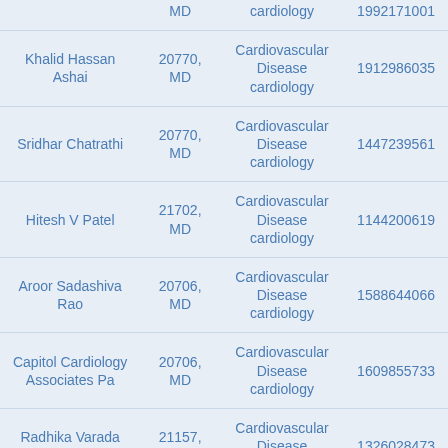| Name | Location | Specialty | NPI |
| --- | --- | --- | --- |
| [partial top row] | MD | Cardiovascular Disease cardiology | 1992171001 |
| Khalid Hassan Ashai | 20770, MD | Cardiovascular Disease cardiology | 1912986035 |
| Sridhar Chatrathi | 20770, MD | Cardiovascular Disease cardiology | 1447239561 |
| Hitesh V Patel | 21702, MD | Cardiovascular Disease cardiology | 1144200619 |
| Aroor Sadashiva Rao | 20706, MD | Cardiovascular Disease cardiology | 1588644066 |
| Capitol Cardiology Associates Pa | 20706, MD | Cardiovascular Disease cardiology | 1609855733 |
| Radhika Varada Kuna | 21157, MD | Cardiovascular Disease cardiology | 1326028473 |
| Tanveer A. Malik | 20737, MD | Cardiovascular Disease | 1336129840 |